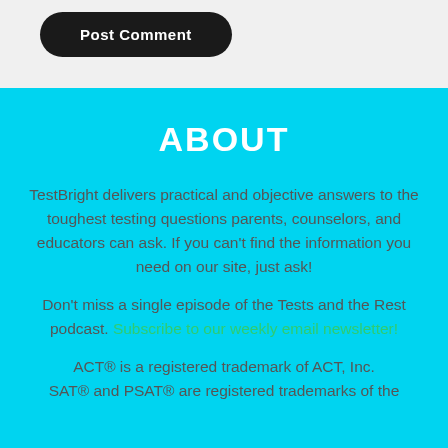[Figure (other): Post Comment button — dark rounded rectangle with white bold text]
ABOUT
TestBright delivers practical and objective answers to the toughest testing questions parents, counselors, and educators can ask. If you can't find the information you need on our site, just ask!
Don't miss a single episode of the Tests and the Rest podcast. Subscribe to our weekly email newsletter!
ACT® is a registered trademark of ACT, Inc. SAT® and PSAT® are registered trademarks of the